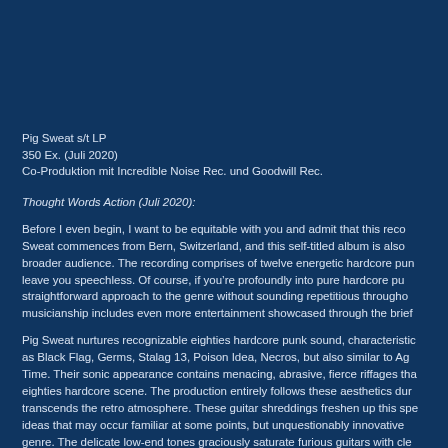Pig Sweat s/t LP
350 Ex. (Juli 2020)
Co-Produktion mit Incredible Noise Rec. und Goodwill Rec.
Thought Words Action (Juli 2020):
Before I even begin, I want to be equitable with you and admit that this reco... Sweat commences from Bern, Switzerland, and this self-titled album is also broader audience. The recording comprises of twelve energetic hardcore pun leave you speechless. Of course, if you're profoundly into pure hardcore pu straightforward approach to the genre without sounding repetitious througho musicianship includes even more entertainment showcased through the brief
Pig Sweat nurtures recognizable eighties hardcore punk sound, characteristic as Black Flag, Germs, Stalag 13, Poison Idea, Necros, but also similar to Ag Time. Their sonic appearance contains menacing, abrasive, fierce riffages tha eighties hardcore scene. The production entirely follows these aesthetics dur transcends the retro atmosphere. These guitar shreddings freshen up this spe ideas that may occur familiar at some points, but unquestionably innovative genre. The delicate low-end tones graciously saturate furious guitars with cle bass guitar also keeps the direct approach without any hidden virtuosities, b